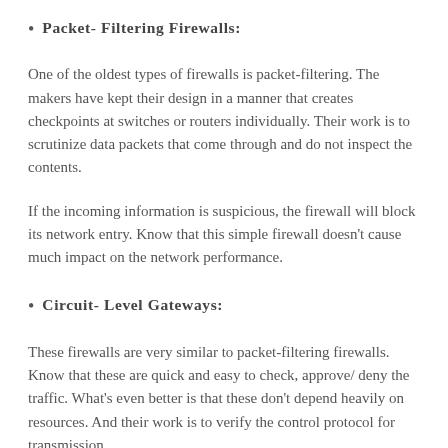Packet- Filtering Firewalls:
One of the oldest types of firewalls is packet-filtering. The makers have kept their design in a manner that creates checkpoints at switches or routers individually. Their work is to scrutinize data packets that come through and do not inspect the contents.
If the incoming information is suspicious, the firewall will block its network entry. Know that this simple firewall doesn't cause much impact on the network performance.
Circuit- Level Gateways:
These firewalls are very similar to packet-filtering firewalls. Know that these are quick and easy to check, approve/ deny the traffic. What's even better is that these don't depend heavily on resources. And their work is to verify the control protocol for transmission.